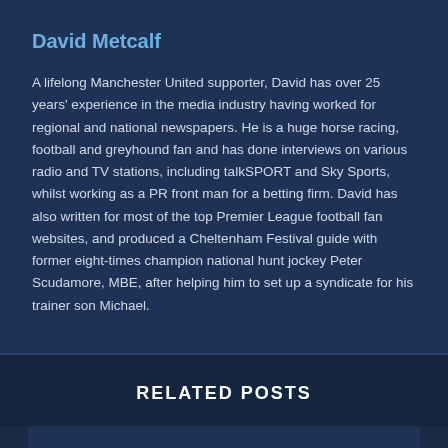David Metcalf
A lifelong Manchester United supporter, David has over 25 years' experience in the media industry having worked for regional and national newspapers. He is a huge horse racing, football and greyhound fan and has done interviews on various radio and TV stations, including talkSPORT and Sky Sports, whilst working as a PR front man for a betting firm. David has also written for most of the top Premier League football fan websites, and produced a Cheltenham Festival guide with former eight-times champion national hunt jockey Peter Scudamore, MBE, after helping him to set up a syndicate for his trainer son Michael.
RELATED POSTS